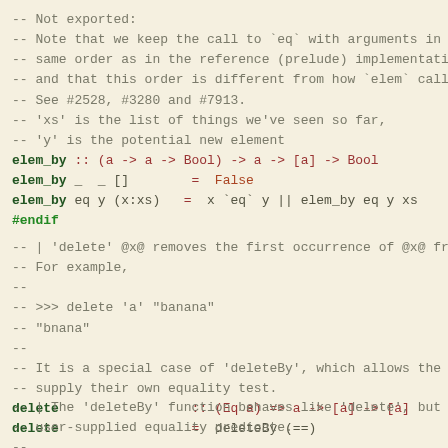-- Not exported:
-- Note that we keep the call to `eq` with arguments in t
-- same order as in the reference (prelude) implementatio
-- and that this order is different from how `elem` calls
-- See #2528, #3280 and #7913.
-- 'xs' is the list of things we've seen so far,
-- 'y' is the potential new element
elem_by :: (a -> a -> Bool) -> a -> [a] -> Bool
elem_by _  _ []        =   False
elem_by eq y (x:xs)   =   x `eq` y || elem_by eq y xs
#endif
-- | 'delete' @x@ removes the first occurrence of @x@ fr
-- For example,
--
-- >>> delete 'a' "banana"
-- "bnana"
--
-- It is a special case of 'deleteBy', which allows the p
-- supply their own equality test.
delete                 :: (Eq a) => a -> [a] -> [a]
delete                 =  deleteBy (==)
-- | The 'deleteBy' function behaves like 'delete', but t
-- user-supplied equality predicate.
--
-- >>> deleteBy (<=) 4 [1..10]
-- [1,2,3,5,6,7,8,9,10]